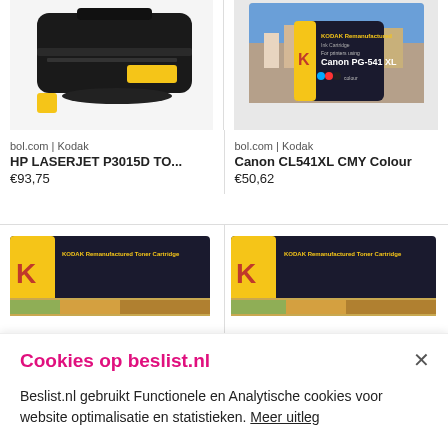[Figure (photo): HP LaserJet toner cartridge, black, on white background]
[Figure (photo): Kodak remanufactured ink cartridge Canon PG-541 XL colour, in box, with city photo background]
bol.com | Kodak
HP LASERJET P3015D TO...
€93,75
bol.com | Kodak
Canon CL541XL CMY Colour
€50,62
[Figure (photo): Kodak remanufactured toner cartridge box, yellow and dark blue, with food photo visible]
[Figure (photo): Kodak remanufactured toner cartridge box, yellow and dark blue, with food photo visible]
Cookies op beslist.nl
Beslist.nl gebruikt Functionele en Analytische cookies voor website optimalisatie en statistieken. Meer uitleg